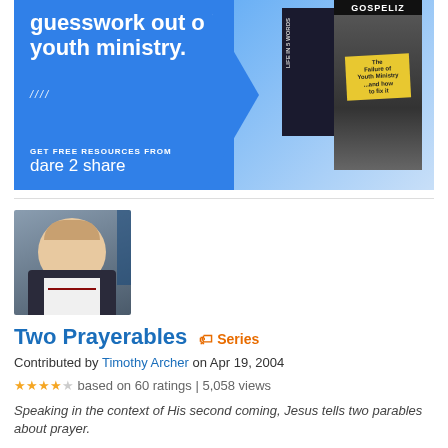[Figure (illustration): Blue advertisement banner for Dare 2 Share youth ministry resources featuring text 'guesswork out of youth ministry.' with books and a 'd' logo]
[Figure (photo): Headshot of Timothy Archer, a middle-aged bald man in a suit, smiling, with bookshelves in background]
Two Prayerables  Series
Contributed by Timothy Archer on Apr 19, 2004
★★★★☆ based on 60 ratings | 5,058 views
Speaking in the context of His second coming, Jesus tells two parables about prayer.